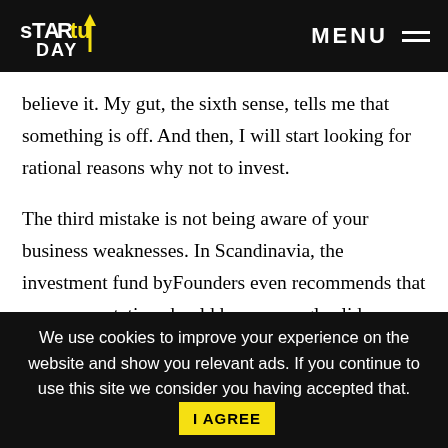STARTUP DAY — MENU
believe it. My gut, the sixth sense, tells me that something is off. And then, I will start looking for rational reasons why not to invest.
The third mistake is not being aware of your business weaknesses. In Scandinavia, the investment fund byFounders even recommends that your presentation should have one ugly slide, meaning a list of things that are out of shape and risky. The aim isn't to say that we don't know what we're doing, but rather to openly point
We use cookies to improve your experience on the website and show you relevant ads. If you continue to use this site we consider you having accepted that. I AGREE